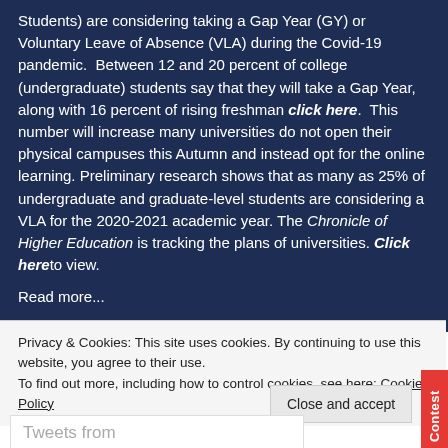Students) are considering taking a Gap Year (GY) or Voluntary Leave of Absence (VLA) during the Covid-19 pandemic.  Between 12 and 20 percent of college (undergraduate) students say that they will take a Gap Year, along with 16 percent of rising freshman click here.  This number will increase many universities do not open their physical campuses this Autumn and instead opt for the online learning. Preliminary research shows that as many as 25% of undergraduate and graduate-level students are considering a VLA for the 2020-2021 academic year. The Chronicle of Higher Education is tracking the plans of universities. Click here to view.
Read more...
Privacy & Cookies: This site uses cookies. By continuing to use this website, you agree to their use.
To find out more, including how to control cookies, see here: Cookie Policy
Close and accept
Contest
Tweets from